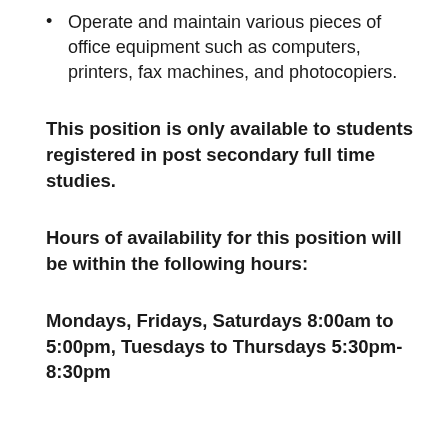Operate and maintain various pieces of office equipment such as computers, printers, fax machines, and photocopiers.
This position is only available to students registered in post secondary full time studies.
Hours of availability for this position will be within the following hours:
Mondays, Fridays, Saturdays 8:00am to 5:00pm, Tuesdays to Thursdays 5:30pm-8:30pm